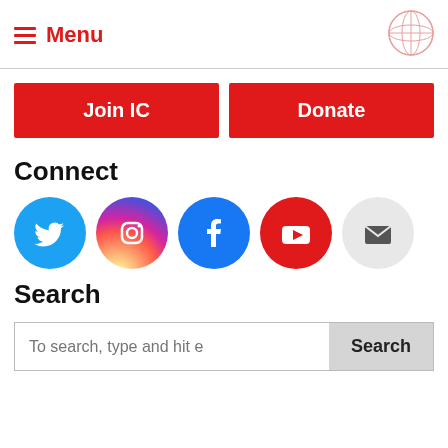≡ Menu
[Figure (logo): Organization globe logo in top right corner]
Join IC
Donate
Connect
[Figure (illustration): Social media icons: Twitter (blue), Instagram (pink/purple gradient), Facebook (blue), YouTube (red), Email (gray)]
Search
To search, type and hit e